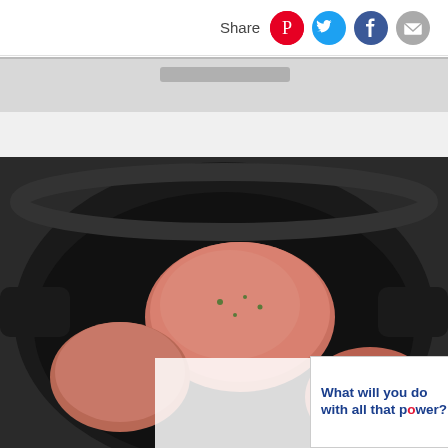Share
[Figure (photo): Photo of raw meat patties/meatballs cooking in a large black cast iron skillet on a stovetop, viewed from above at an angle.]
[Figure (infographic): Advertisement banner: 'What will you do with all that power?' with Ocean Spray cranberry juice bottles and a 'LEARN MORE' button.]